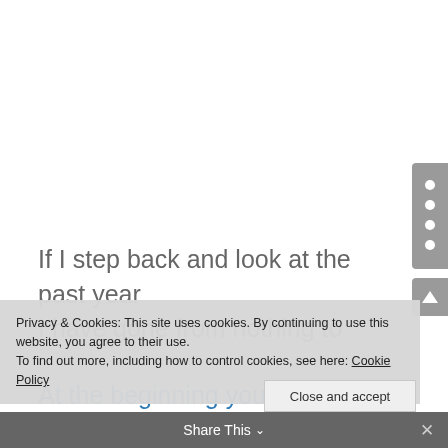If I step back and look at the past year
I have gone from nothing to
[Figure (other): Navigation dots widget on right side, gray rounded rectangle with 4 white circular dots]
[Figure (other): Scroll-up button on right side, gray rounded rectangle with white upward chevron arrow]
Privacy & Cookies: This site uses cookies. By continuing to use this website, you agree to their use.
To find out more, including how to control cookies, see here: Cookie Policy
Close and accept
At the beginning you have no idea
Share This ∨